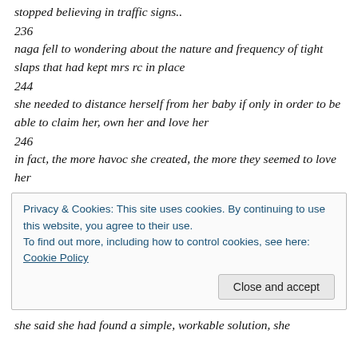stopped believing in traffic signs..
236
naga fell to wondering about the nature and frequency of tight slaps that had kept mrs rc in place
244
she needed to distance herself from her baby if only in order to be able to claim her, own her and love her
246
in fact, the more havoc she created, the more they seemed to love her
Privacy & Cookies: This site uses cookies. By continuing to use this website, you agree to their use.
To find out more, including how to control cookies, see here: Cookie Policy
Close and accept
she said she had found a simple, workable solution, she